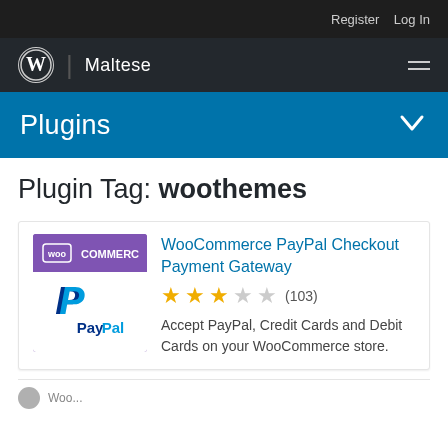Register   Log In
WordPress | Maltese
Plugins
Plugin Tag: woothemes
[Figure (logo): WooCommerce PayPal plugin card with WooCommerce logo and PayPal logo]
WooCommerce PayPal Checkout Payment Gateway
★★★☆☆ (103)
Accept PayPal, Credit Cards and Debit Cards on your WooCommerce store.